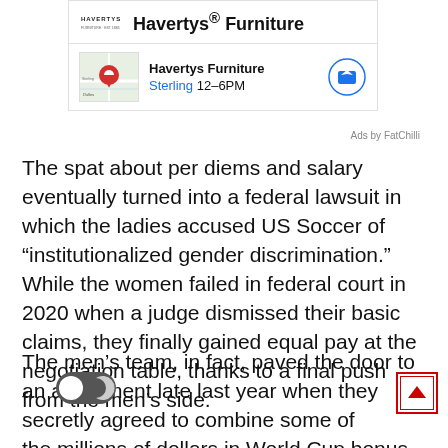[Figure (screenshot): Havertys Furniture advertisement with logo, store name, map thumbnail showing location pin, Sterling 12-6PM hours, and navigation arrow icon. 'Ads by FatChilli' label below.]
The spat about per diems and salary eventually turned into a federal lawsuit in which the ladies accused US Soccer of “institutionalized gender discrimination.” While the women failed in federal court in 2020 when a judge dismissed their basic claims, they finally gained equal pay at the negotiation table, thanks to a final push from the men’s side.
The men’s team, in fact, paved the door to an agreement late last year when they secretly agreed to combine some of the millions of dollars in World Cup bonus money tha they have typically earned with the modest sums the